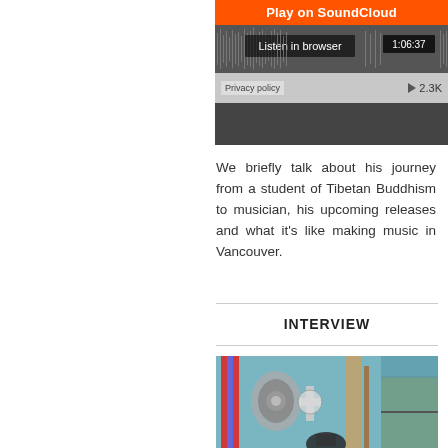[Figure (screenshot): SoundCloud embedded player widget showing 'Play on SoundCloud' orange button, waveform, 'Listen in browser' button, timestamp 1:06:37, Privacy policy link, and play count 2.3K]
We briefly talk about his journey from a student of Tibetan Buddhism to musician, his upcoming releases and what it's like making music in Vancouver.
INTERVIEW
[Figure (photo): Photo showing music equipment including headphones, a barber pole, and various instruments in a studio or shop setting]